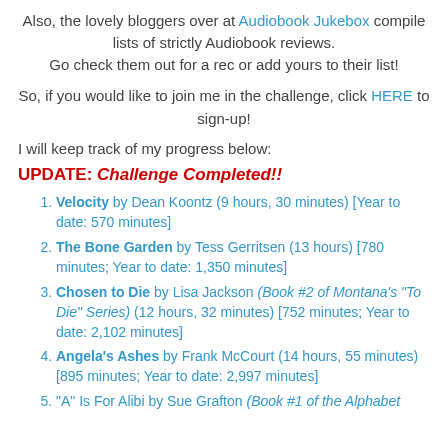Also, the lovely bloggers over at Audiobook Jukebox compile lists of strictly Audiobook reviews. Go check them out for a rec or add yours to their list!
So, if you would like to join me in the challenge, click HERE to sign-up!
I will keep track of my progress below:
UPDATE: Challenge Completed!!
Velocity by Dean Koontz (9 hours, 30 minutes) [Year to date: 570 minutes]
The Bone Garden by Tess Gerritsen (13 hours) [780 minutes; Year to date: 1,350 minutes]
Chosen to Die by Lisa Jackson (Book #2 of Montana's "To Die" Series) (12 hours, 32 minutes) [752 minutes; Year to date: 2,102 minutes]
Angela's Ashes by Frank McCourt (14 hours, 55 minutes) [895 minutes; Year to date: 2,997 minutes]
"A" Is For Alibi by Sue Grafton (Book #1 of the Alphabet...